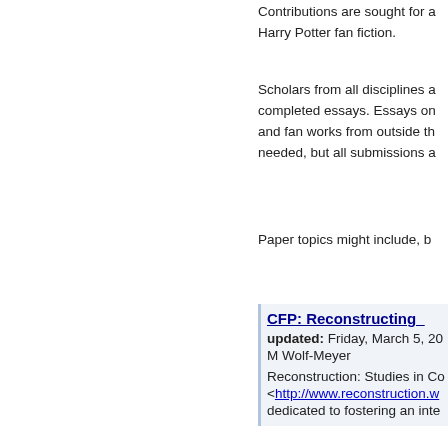Contributions are sought for a Harry Potter fan fiction.
Scholars from all disciplines are invited to submit completed essays. Essays on and fan works from outside th needed, but all submissions a
Paper topics might include, b
CFP: Reconstructing_
updated: Friday, March 5, 20
M Wolf-Meyer
Reconstruction: Studies in Co <http://www.reconstruction.w dedicated to fostering an inte